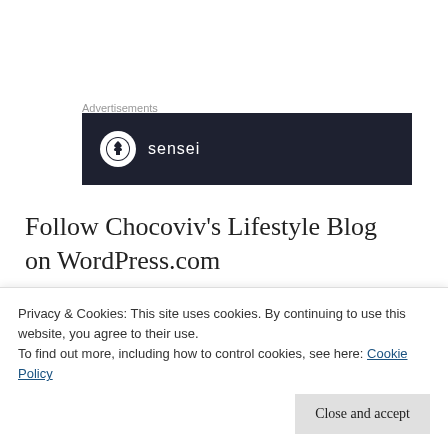Advertisements
[Figure (logo): Sensei logo on dark navy background — circular tree icon followed by the word 'sensei' in white text]
Follow Chocoviv’s Lifestyle Blog on WordPress.com
Visitors
Privacy & Cookies: This site uses cookies. By continuing to use this website, you agree to their use.
To find out more, including how to control cookies, see here: Cookie Policy